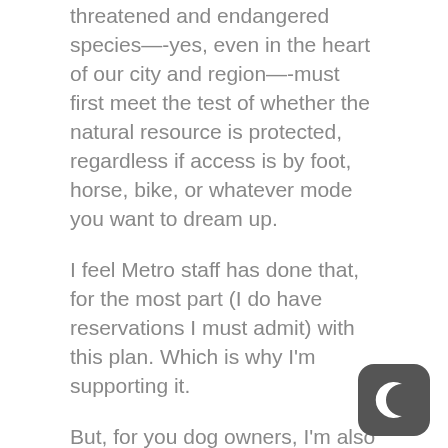threatened and endangered species—-yes, even in the heart of our city and region—-must first meet the test of whether the natural resource is protected, regardless if access is by foot, horse, bike, or whatever mode you want to dream up.
I feel Metro staff has done that, for the most part (I do have reservations I must admit) with this plan. Which is why I'm supporting it.
But, for you dog owners, I'm also supporting Metro's no dogs policy in there natural areas! There, now you can be pissed about something else.
Mike Houck, Director
Urban Greenspaces Institute